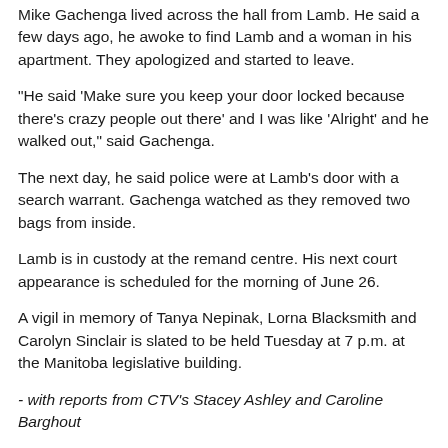Mike Gachenga lived across the hall from Lamb. He said a few days ago, he awoke to find Lamb and a woman in his apartment. They apologized and started to leave.
"He said 'Make sure you keep your door locked because there's crazy people out there' and I was like 'Alright' and he walked out," said Gachenga.
The next day, he said police were at Lamb's door with a search warrant. Gachenga watched as they removed two bags from inside.
Lamb is in custody at the remand centre. His next court appearance is scheduled for the morning of June 26.
A vigil in memory of Tanya Nepinak, Lorna Blacksmith and Carolyn Sinclair is slated to be held Tuesday at 7 p.m. at the Manitoba legislative building.
- with reports from CTV's Stacey Ashley and Caroline Barghout